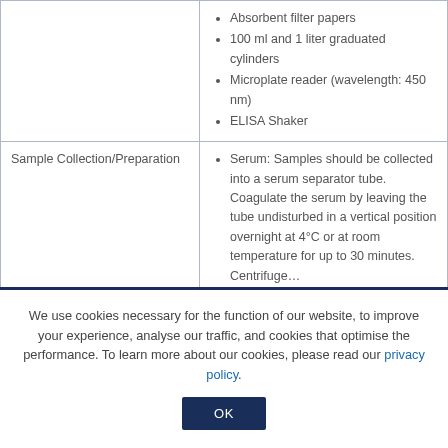|  | Absorbent filter papers
100 ml and 1 liter graduated cylinders
Microplate reader (wavelength: 450 nm)
ELISA Shaker |
| Sample Collection/Preparation | Serum: Samples should be collected into a serum separator tube. Coagulate the serum by leaving the tube undisturbed in a vertical position overnight at 4°C or at room temperature for up to 30 minutes. Centrifuge… |
We use cookies necessary for the function of our website, to improve your experience, analyse our traffic, and cookies that optimise the performance. To learn more about our cookies, please read our privacy policy.